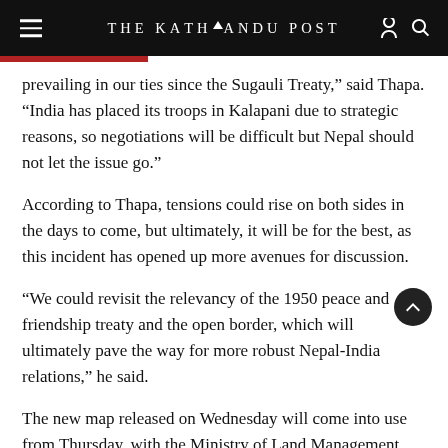THE KATHMANDU POST
prevailing in our ties since the Sugauli Treaty,” said Thapa. “India has placed its troops in Kalapani due to strategic reasons, so negotiations will be difficult but Nepal should not let the issue go.”
According to Thapa, tensions could rise on both sides in the days to come, but ultimately, it will be for the best, as this incident has opened up more avenues for discussion.
“We could revisit the relevancy of the 1950 peace and friendship treaty and the open border, which will ultimately pave the way for more robust Nepal-India relations,” he said.
The new map released on Wednesday will come into use from Thursday, with the Ministry of Land Management writing to all government ministries and agencies to employ the new map in